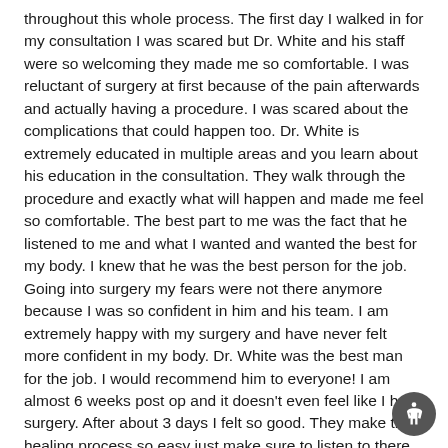throughout this whole process. The first day I walked in for my consultation I was scared but Dr. White and his staff were so welcoming they made me so comfortable. I was reluctant of surgery at first because of the pain afterwards and actually having a procedure. I was scared about the complications that could happen too. Dr. White is extremely educated in multiple areas and you learn about his education in the consultation. They walk through the procedure and exactly what will happen and made me feel so comfortable. The best part to me was the fact that he listened to me and what I wanted and wanted the best for my body. I knew that he was the best person for the job. Going into surgery my fears were not there anymore because I was so confident in him and his team. I am extremely happy with my surgery and have never felt more confident in my body. Dr. White was the best man for the job. I would recommend him to everyone! I am almost 6 weeks post op and it doesn't even feel like I had surgery. After about 3 days I felt so good. They make the healing process so easy just make sure to listen to there directions! Now I am confident in my body and so happy with myself. I have not regretted this for one second and I am so happy with the results. I will continue to check in with Dr. White and his team because they truly care about me and I want to update them on my progress and my